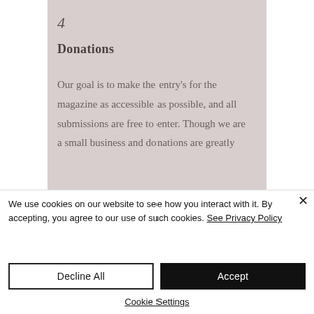4
Donations
Our goal is to make the entry's for the magazine as accessible as possible, and all submissions are free to enter. Though we are a small business and donations are greatly
We use cookies on our website to see how you interact with it. By accepting, you agree to our use of such cookies. See Privacy Policy
Decline All
Accept
Cookie Settings